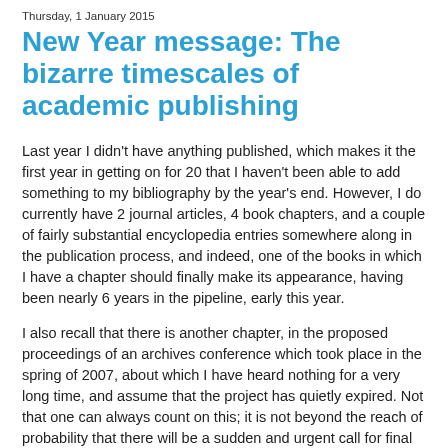Thursday, 1 January 2015
New Year message: The bizarre timescales of academic publishing
Last year I didn't have anything published, which makes it the first year in getting on for 20 that I haven't been able to add something to my bibliography by the year's end. However, I do currently have 2 journal articles, 4 book chapters, and a couple of fairly substantial encyclopedia entries somewhere along in the publication process, and indeed, one of the books in which I have a chapter should finally make its appearance, having been nearly 6 years in the pipeline, early this year.
I also recall that there is another chapter, in the proposed proceedings of an archives conference which took place in the spring of 2007, about which I have heard nothing for a very long time, and assume that the project has quietly expired. Not that one can always count on this; it is not beyond the reach of probability that there will be a sudden and urgent call for final editorial revisions due the day before yesterday, after which there will be another lengthy hiatus.